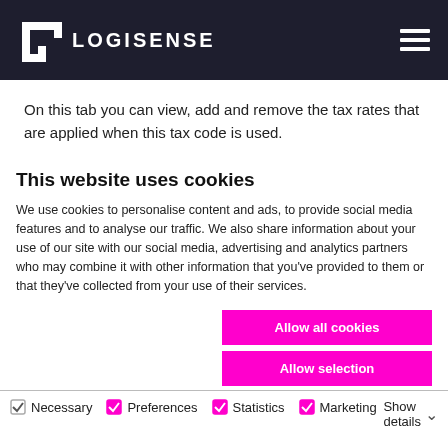[Figure (logo): Logisense logo: white L-shaped icon and LOGISENSE text in white on dark navy background, with hamburger menu icon on right]
On this tab you can view, add and remove the tax rates that are applied when this tax code is used.
This website uses cookies
We use cookies to personalise content and ads, to provide social media features and to analyse our traffic. We also share information about your use of our site with our social media, advertising and analytics partners who may combine it with other information that you've provided to them or that they've collected from your use of their services.
Allow all cookies
Allow selection
Use necessary cookies only
Necessary  Preferences  Statistics  Marketing  Show details